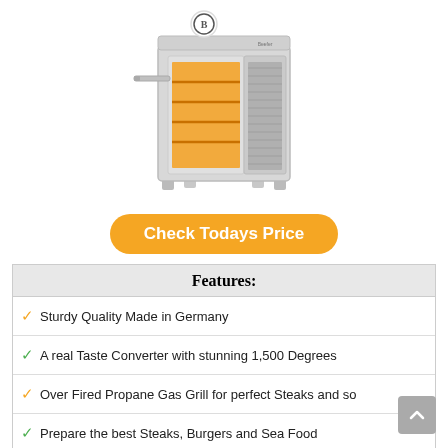[Figure (photo): A stainless steel over-fired vertical broiler/grill appliance with glowing orange interior heating elements, standing on four feet, with a round logo on top.]
Check Todays Price
| Features: |
| --- |
| ✓ Sturdy Quality Made in Germany |
| ✓ A real Taste Converter with stunning 1,500 Degrees |
| ✓ Over Fired Propane Gas Grill for perfect Steaks and so |
| ✓ Prepare the best Steaks, Burgers and Sea Food |
| ✓ Ready to Go Set with 2 x Grill Grate, 2 x Gastro Tray, 1 x |
3. KOOLMORE – SB141611-12B3 2 COMPARTMENT STAINLESS STEEL NSF